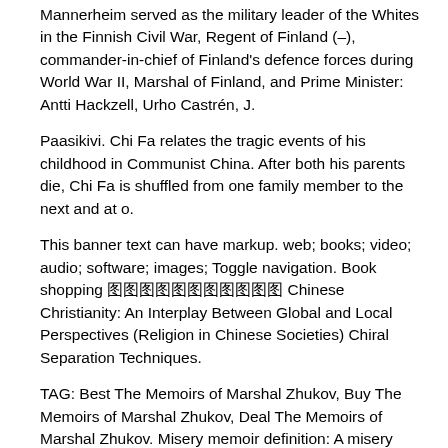Mannerheim served as the military leader of the Whites in the Finnish Civil War, Regent of Finland (–), commander-in-chief of Finland's defence forces during World War II, Marshal of Finland, and Prime Minister: Antti Hackzell, Urho Castrén, J.
Paasikivi. Chi Fa relates the tragic events of his childhood in Communist China. After both his parents die, Chi Fa is shuffled from one family member to the next and at o.
This banner text can have markup. web; books; video; audio; software; images; Toggle navigation. Book shopping 圖圖圖圖圖圖圖圖圖圖圖 Chinese Christianity: An Interplay Between Global and Local Perspectives (Religion in Chinese Societies) Chiral Separation Techniques.
TAG: Best The Memoirs of Marshal Zhukov, Buy The Memoirs of Marshal Zhukov, Deal The Memoirs of Marshal Zhukov. Misery memoir definition: A misery memoir is a book that someone has written about their own life in which they | Meaning, pronunciation, translations and examples Misery memoirs have flooded the bookshops, and specimens such as this beg the question of why